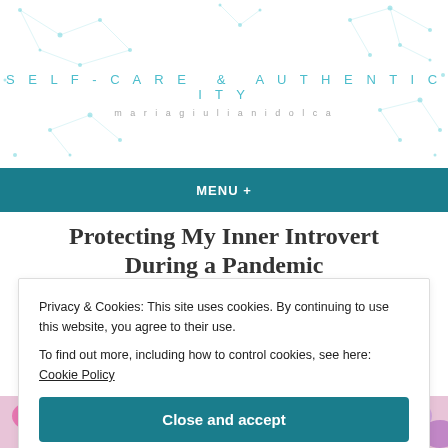[Figure (illustration): Decorative teal network/constellation dot pattern in header background]
SELF-CARE & AUTHENTICITY
mariagiulianidolca
MENU +
Protecting My Inner Introvert During a Pandemic
Privacy & Cookies: This site uses cookies. By continuing to use this website, you agree to their use.
To find out more, including how to control cookies, see here: Cookie Policy
Close and accept
[Figure (photo): Colorful floral and microscopic/viral imagery at the bottom of the page]